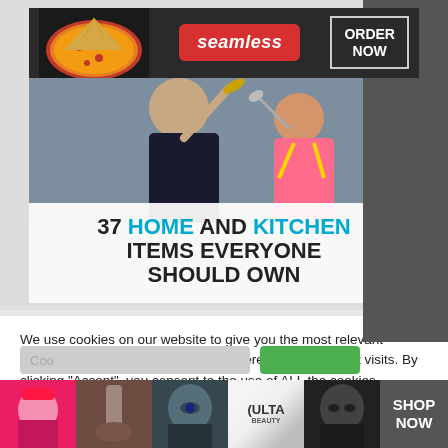[Figure (screenshot): Seamless food delivery advertisement banner with pizza image, Seamless logo in red rounded pill, and ORDER NOW button in white bordered box on dark background]
[Figure (photo): Photo of a woman and young girl cooking together, overlaid with white text box reading '37 HOME AND KITCHEN ITEMS EVERYONE SHOULD OWN']
We use cookies on our website to give you the most relevant experience by remembering your preferences and repeat visits. By clicking “Accept”, you consent to the use of ALL the cookies.
Do not sell my personal information.
[Figure (screenshot): ULTA Beauty advertisement banner showing five makeup/beauty product images with a SHOP NOW button on the right]